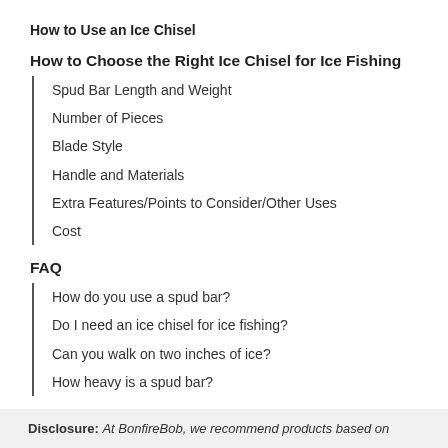How to Use an Ice Chisel
How to Choose the Right Ice Chisel for Ice Fishing
Spud Bar Length and Weight
Number of Pieces
Blade Style
Handle and Materials
Extra Features/Points to Consider/Other Uses
Cost
FAQ
How do you use a spud bar?
Do I need an ice chisel for ice fishing?
Can you walk on two inches of ice?
How heavy is a spud bar?
Summary
Disclosure: At BonfireBob, we recommend products based on